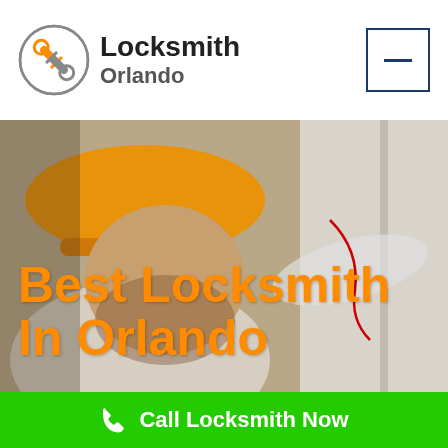[Figure (logo): Locksmith Orlando logo: circle with crossed keys icon, text 'Locksmith Orlando']
Best Locksmith In Orlando
Call Locksmith Now